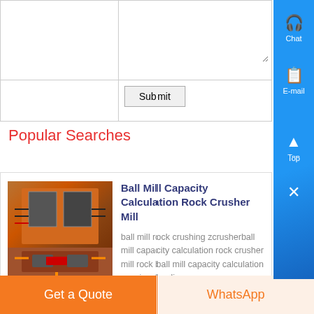|  | [message textarea] |
|  | Submit |
Popular Searches
[Figure (photo): Photo of industrial electrical/mechanical equipment with wiring and components on an orange background]
Ball Mill Capacity Calculation Rock Crusher Mill
ball mill rock crushing zcrusherball mill capacity calculation rock crusher mill rock ball mill capacity calculation xsm is a leadi…
Get a Quote
WhatsApp